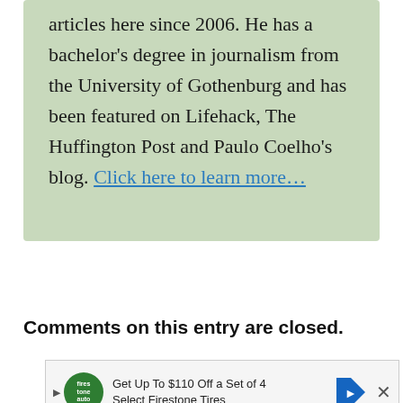articles here since 2006. He has a bachelor's degree in journalism from the University of Gothenburg and has been featured on Lifehack, The Huffington Post and Paulo Coelho's blog. Click here to learn more…
Comments on this entry are closed.
[Figure (other): Advertisement banner: Get Up To $110 Off a Set of 4 Select Firestone Tires with Firestone logo and navigation arrow icon]